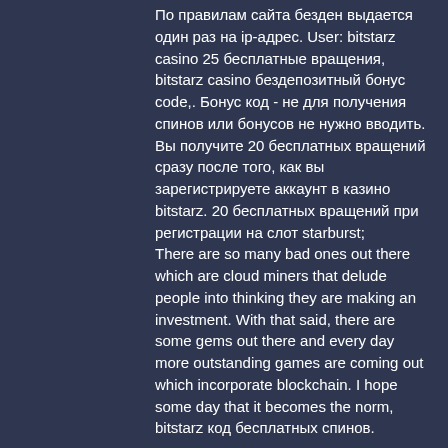По правилам сайта безден выдается один раз на ip-адрес. User: bitstarz casino 25 бесплатные вращения, bitstarz casino бездепозитный бонус code,. Бонус код - не для получения спинов или бонусов не нужно вводить. Вы получите 20 бесплатных вращений сразу после того, как вы зарегистрируете аккаунт в казино bitstarz. 20 бесплатных вращений при регистрации на слот starburst; There are so many bad ones out there which are cloud miners that delude people into thinking they are making an investment. With that said, there are some gems out there and every day more outstanding games are coming out which incorporate blockchain. I hope some day that it becomes the norm, bitstarz код бесплатных спинов.
Last week winners:
Troll Hunters - 733.7 usdt
Sun Wukong - 406 btc